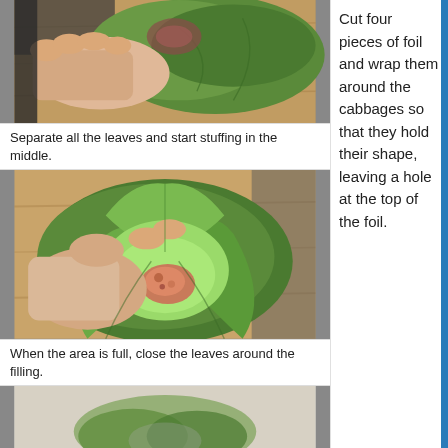[Figure (photo): Hand separating cabbage leaves on a wooden cutting board, showing leafy green cabbage being pulled apart]
Separate all the leaves and start stuffing in the middle.
[Figure (photo): Hand holding an open cabbage head with red meat filling stuffed in the center, on a wooden cutting board]
When the area is full, close the leaves around the filling.
[Figure (photo): Partial view of another step showing cabbage preparation]
Cut four pieces of foil and wrap them around the cabbages so that they hold their shape, leaving a hole at the top of the foil.